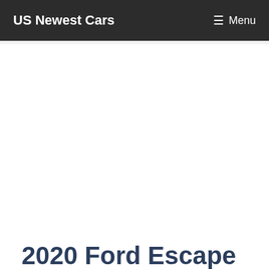US Newest Cars
2020 Ford Escape